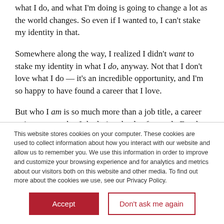what I do, and what I'm doing is going to change a lot as the world changes. So even if I wanted to, I can't stake my identity in that.
Somewhere along the way, I realized I didn't want to stake my identity in what I do, anyway. Not that I don't love what I do — it's an incredible opportunity, and I'm so happy to have found a career that I love.
But who I am is so much more than a job title, a career trajectory, or what I do during the day for work. For that matter, who I am is a lot more than what I do at all. I can make a list of how I spend my days, what I choose to focus on —
This website stores cookies on your computer. These cookies are used to collect information about how you interact with our website and allow us to remember you. We use this information in order to improve and customize your browsing experience and for analytics and metrics about our visitors both on this website and other media. To find out more about the cookies we use, see our Privacy Policy.